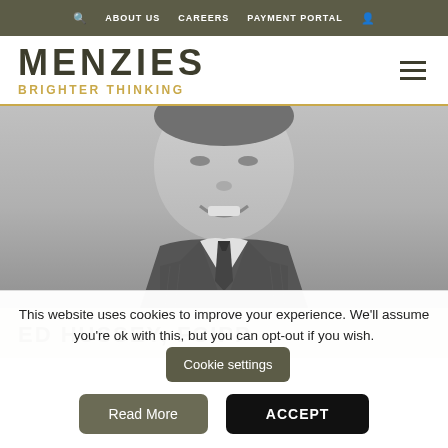ABOUT US  CAREERS  PAYMENT PORTAL
MENZIES BRIGHTER THINKING
[Figure (photo): Black and white portrait photo of a man in a suit and tie, smiling, cropped at chest level]
ED HUSSEY, FCIPP
This website uses cookies to improve your experience. We'll assume you're ok with this, but you can opt-out if you wish.
Cookie settings
Read More
ACCEPT